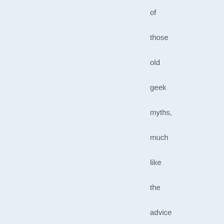of those old geek myths, much like the advice to put keyboards in dishwashers lol:) dvorok had a financial interest in getting